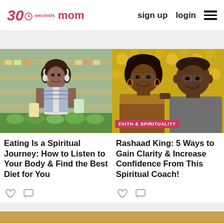30 seconds mom | sign up | login
[Figure (photo): Woman with headphones around her neck browsing products in a grocery store]
[Figure (photo): Two people smiling together, with a 'FAITH & SPIRITUALITY' category tag overlay]
Eating Is a Spiritual Journey: How to Listen to Your Body & Find the Best Diet for You
Rashaad King: 5 Ways to Gain Clarity & Increase Confidence From This Spiritual Coach!